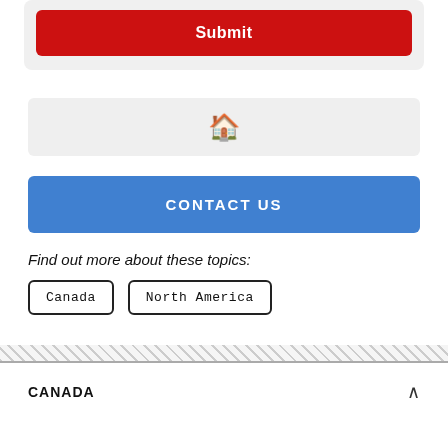[Figure (screenshot): Red Submit button inside a light gray rounded card]
[Figure (screenshot): Home icon inside a light gray bar]
[Figure (screenshot): Blue CONTACT US button]
Find out more about these topics:
Canada
North America
CANADA